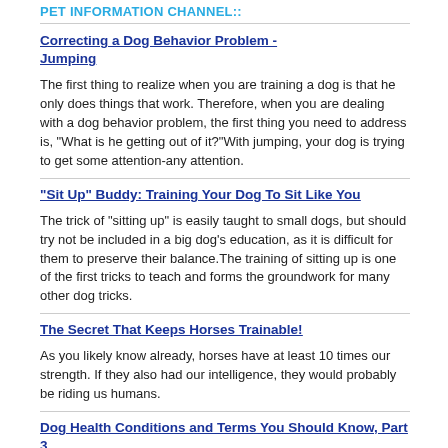PET INFORMATION CHANNEL::
Correcting a Dog Behavior Problem - Jumping
The first thing to realize when you are training a dog is that he only does things that work. Therefore, when you are dealing with a dog behavior problem, the first thing you need to address is, "What is he getting out of it?"With jumping, your dog is trying to get some attention-any attention.
"Sit Up" Buddy: Training Your Dog To Sit Like You
The trick of "sitting up" is easily taught to small dogs, but should try not be included in a big dog's education, as it is difficult for them to preserve their balance.The training of sitting up is one of the first tricks to teach and forms the groundwork for many other dog tricks.
The Secret That Keeps Horses Trainable!
As you likely know already, horses have at least 10 times our strength. If they also had our intelligence, they would probably be riding us humans.
Dog Health Conditions and Terms You Should Know, Part 3...
Continued from part two. Epilepsy/seizure disorder. When your Boxer is between 2 to 5 years old, he may develop seizure disorder...